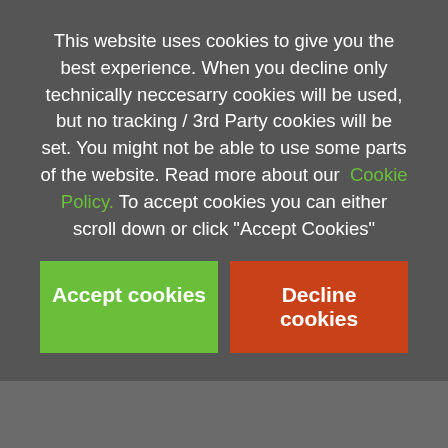This website uses cookies to give you the best experience. When you decline only technically neccesarry cookies will be used, but no tracking / 3rd Party cookies will be set. You might not be able to use some parts of the website. Read more about our Cookie Policy. To accept cookies you can either scroll down or click "Accept Cookies"
Accept cookies
Decline cookies